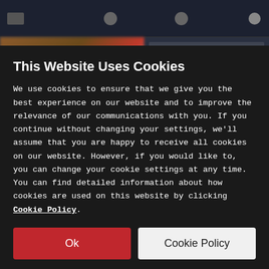[Figure (screenshot): Blurred website screenshot showing a dark navigation bar with icons, and a content area with a blurred vehicle image on the left and text blocks on the right.]
This Website Uses Cookies
We use cookies to ensure that we give you the best experience on our website and to improve the relevance of our communications with you. If you continue without changing your settings, we'll assume that you are happy to receive all cookies on our website. However, if you would like to, you can change your cookie settings at any time. You can find detailed information about how cookies are used on this website by clicking Cookie Policy.
Ok
Cookie Policy